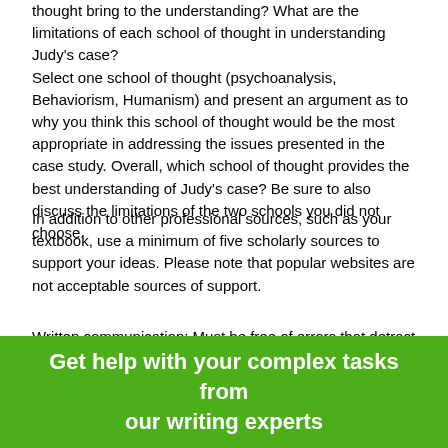thought bring to the understanding? What are the limitations of each school of thought in understanding Judy's case? Select one school of thought (psychoanalysis, Behaviorism, Humanism) and present an argument as to why you think this school of thought would be the most appropriate in addressing the issues presented in the case study. Overall, which school of thought provides the best understanding of Judy's case? Be sure to also discuss the limitations of the two schools you did not choose.
In addition to other professional sources, such as your textbook, use a minimum of five scholarly sources to support your ideas. Please note that popular websites are not acceptable sources of support.
Written communication: Must be free of errors that detract from the overall message.
Resources and citations: Format according to APA (6th Edition) guidelines.
Font and font size: Times New Roman, 12 point.
[Figure (infographic): Green banner with white bold text: 'Get help with your complex tasks from our writing experts']